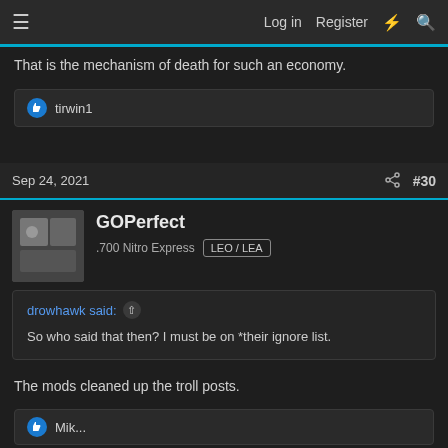Log in  Register
That is the mechanism of death for such an economy.
tirwin1
Sep 24, 2021  #30
GOPerfect
.700 Nitro Express  LEO / LEA
drowhawk said:
So who said that then? I must be on *their ignore list.
The mods cleaned up the troll posts.